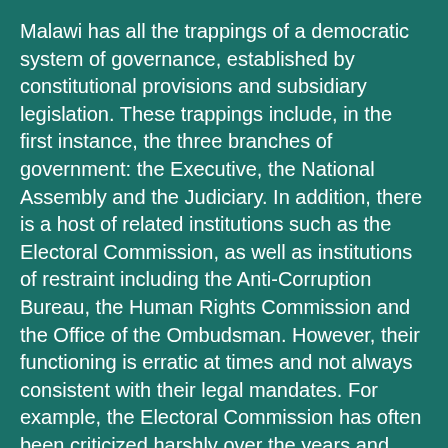Malawi has all the trappings of a democratic system of governance, established by constitutional provisions and subsidiary legislation. These trappings include, in the first instance, the three branches of government: the Executive, the National Assembly and the Judiciary. In addition, there is a host of related institutions such as the Electoral Commission, as well as institutions of restraint including the Anti-Corruption Bureau, the Human Rights Commission and the Office of the Ombudsman. However, their functioning is erratic at times and not always consistent with their legal mandates. For example, the Electoral Commission has often been criticized harshly over the years and performed unacceptably in the management of the 2019 elections. The executive tends to overstretch itself despite its wide legal mandate, and thus diminish the stipulated roles of the other branches. The National Assembly is prone to partisan maneuvering, which is typical of such institutions globally, but usually arrives at compromise solutions. Its committees work reasonably well. The judiciary is probably the democratic institution that performs best among the three branches as exemplified by the recent ruling on the 2019 presidential